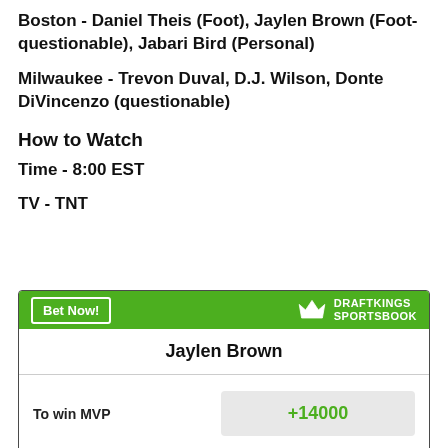Boston - Daniel Theis (Foot), Jaylen Brown (Foot-questionable), Jabari Bird (Personal)
Milwaukee - Trevon Duval, D.J. Wilson, Donte DiVincenzo (questionable)
How to Watch
Time - 8:00 EST
TV - TNT
| Player | Bet | Odds |
| --- | --- | --- |
| Jaylen Brown | To win MVP | +14000 |